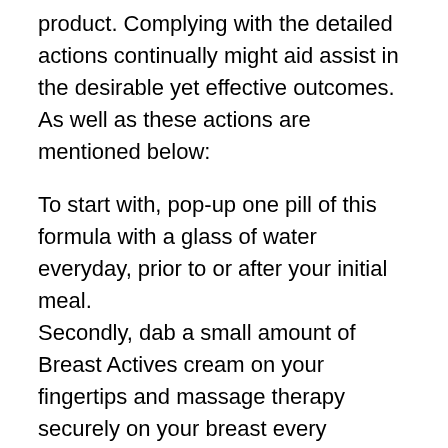product. Complying with the detailed actions continually might aid assist in the desirable yet effective outcomes. As well as these actions are mentioned below:
To start with, pop-up one pill of this formula with a glass of water everyday, prior to or after your initial meal.
Secondly, dab a small amount of Breast Actives cream on your fingertips and massage therapy securely on your breast every morning.
And also last but not least, read its workout program completely as well as follow the various massage methods, diet plan & health programs correctly to enhance your breast size.